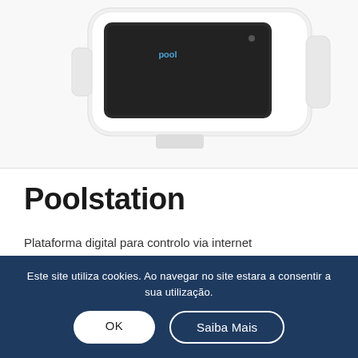[Figure (photo): Product photo of Poolstation device — a white compact electronic unit with a dark screen/display panel, shown from slightly above at an angle. The device has a rectangular form with rounded edges.]
Poolstation
Plataforma digital para controlo via internet
Controla até 6 saidas em simultâneo
Controla elementos da piscina e jardim via internet
Este site utiliza cookies. Ao navegar no site estara a consentir a sua utilização.